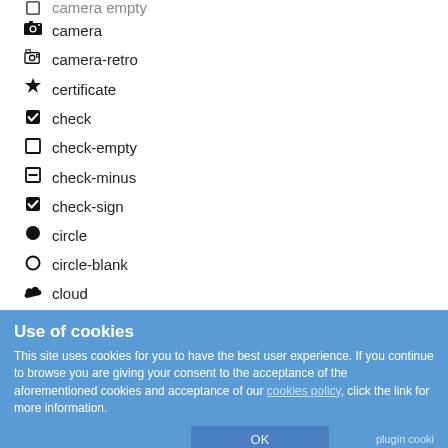camera
camera-retro
certificate
check
check-empty
check-minus
check-sign
circle
circle-blank
cloud
cloud-download
cloud-upload
code
code-fork
coffee
Use of cookies
This site uses cookies for you to have the best user experience. If you continue to browse you are giving your consent to the acceptance of the aforementioned cookies and acceptance of our cookies policy, click the link for more information.
OK
plugin cooki